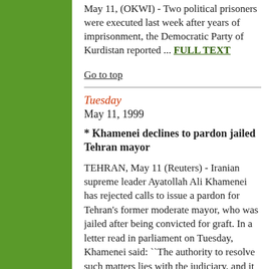May 11, (OKWI) - Two political prisoners were executed last week after years of imprisonment, the Democratic Party of Kurdistan reported ... FULL TEXT
Go to top
Tuesday
May 11, 1999
* Khamenei declines to pardon jailed Tehran mayor
TEHRAN, May 11 (Reuters) - Iranian supreme leader Ayatollah Ali Khamenei has rejected calls to issue a pardon for Tehran's former moderate mayor, who was jailed after being convicted for graft. In a letter read in parliament on Tuesday, Khamenei said: ``The authority to resolve such matters lies with the judiciary, and it is in the good of the country and the people if legal rulings are not